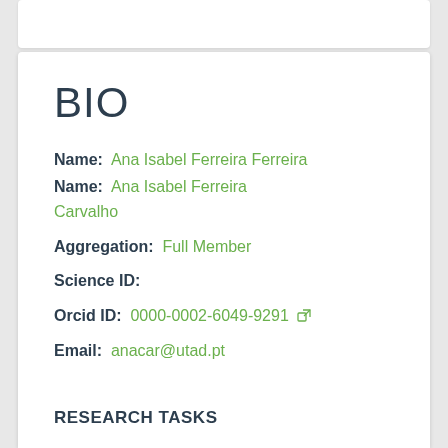BIO
Name:  Ana Isabel Ferreira Carvalho
Aggregation:  Full Member
Science ID:
Orcid ID:  0000-0002-6049-9291
Email:  anacar@utad.pt
RESEARCH TASKS